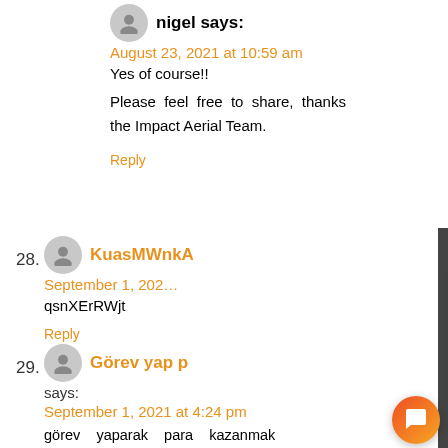nigel says:
August 23, 2021 at 10:59 am
Yes of course!!
Please feel free to share, thanks the Impact Aerial Team.
Reply
28. KuasMWnkA
September 1, 202...
qsnXErRWjt
Reply
29. Görev yap p... says:
September 1, 2021 at 4:24 pm
görev yaparak para kazanmak isteyenler hemen sitemizi ziyaret ederek para kazanmaya
Hi this is the Impact Aerial Team, we are live right now and able to help. Got any questions? I'm happy to help.